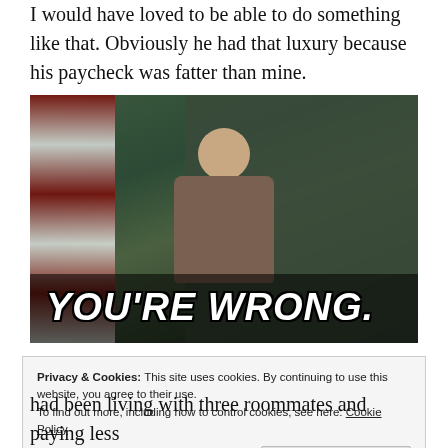I would have loved to be able to do something like that. Obviously he had that luxury because his paycheck was fatter than mine.
[Figure (photo): A middle-aged man in a sweater vest standing in front of a chalkboard with an American flag visible, with the caption overlay 'YOU'RE WRONG.' at the bottom of the image.]
Privacy & Cookies: This site uses cookies. By continuing to use this website, you agree to their use.
To find out more, including how to control cookies, see here: Cookie Policy
[Close and accept button]
had been living with three roommates and paying less